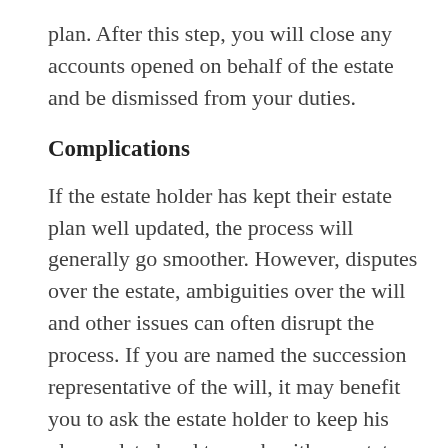plan. After this step, you will close any accounts opened on behalf of the estate and be dismissed from your duties.
Complications
If the estate holder has kept their estate plan well updated, the process will generally go smoother. However, disputes over the estate, ambiguities over the will and other issues can often disrupt the process. If you are named the succession representative of the will, it may benefit you to ask the estate holder to keep his plan updated and to work with an estate lawyer to deal with any unsuspected complications.